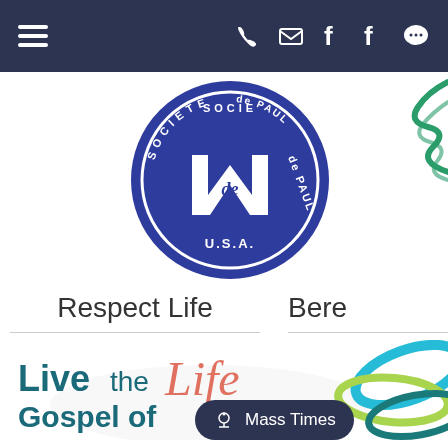[Figure (screenshot): Dark navy navigation bar with hamburger menu icon on the left and phone, email, two Facebook, and chat icons on the right in white]
[Figure (logo): Society of St. Vincent de Paul USA circular blue and white seal logo]
[Figure (illustration): Green cursive/scribble decorative graphic element partially visible at top right]
Respect Life
Bere
[Figure (illustration): Live the Gospel of Life text graphic with teal bold text and coral/salmon cursive Life script]
[Figure (illustration): Teal, lime green, and dark teal overlapping circles/rings graphic at right side]
Mass Times